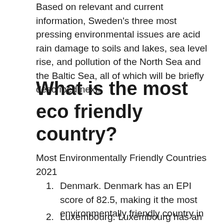Based on relevant and current information, Sweden's three most pressing environmental issues are acid rain damage to soils and lakes, sea level rise, and pollution of the North Sea and the Baltic Sea, all of which will be briefly described next.
What is the most eco friendly country?
Most Environmentally Friendly Countries 2021
Denmark. Denmark has an EPI score of 82.5, making it the most environmentally friendly country in the world. ...
Luxembourg. Luxembourg has an EPI